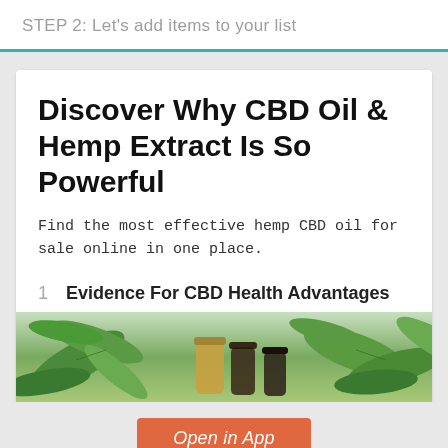STEP 2: Let's add items to your list
Discover Why CBD Oil & Hemp Extract Is So Powerful
Find the most effective hemp CBD oil for sale online in one place.
1  Evidence For CBD Health Advantages
[Figure (photo): Photo of hemp/cannabis leaves and CBD oil bottles on a surface]
Open in App
Finished adding items?  Take me to my Listly